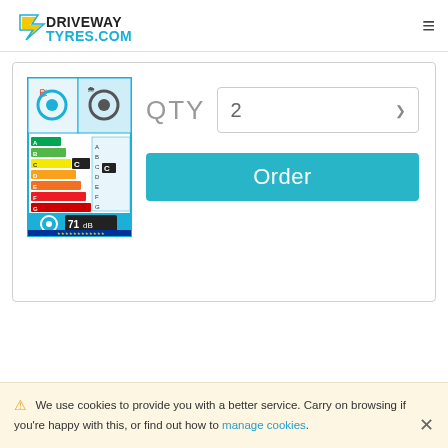DRIVEWAYTYRES.COM - MOBILE FITTING SERVICE
[Figure (other): EU tyre energy label showing fuel efficiency rating C, wet grip rating C, and noise rating 71 dB with colour-coded bar chart from green to red]
QTY  2
Order
We use cookies to provide you with a better service. Carry on browsing if you're happy with this, or find out how to manage cookies.